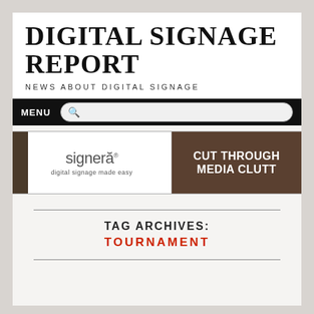DIGITAL SIGNAGE REPORT
NEWS ABOUT DIGITAL SIGNAGE
MENU
[Figure (screenshot): Signera advertisement banner - left side shows signera logo with tagline 'digital signage made easy', right side shows text 'CUT THROUGH MEDIA CLUTT' on dark brown background]
TAG ARCHIVES: TOURNAMENT